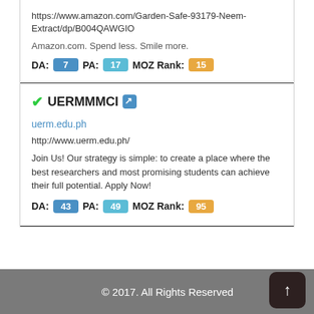https://www.amazon.com/Garden-Safe-93179-Neem-Extract/dp/B004QAWGIO
Amazon.com. Spend less. Smile more.
DA: 7  PA: 17  MOZ Rank: 15
UERMMMCI
uerm.edu.ph
http://www.uerm.edu.ph/
Join Us! Our strategy is simple: to create a place where the best researchers and most promising students can achieve their full potential. Apply Now!
DA: 43  PA: 49  MOZ Rank: 95
© 2017. All Rights Reserved